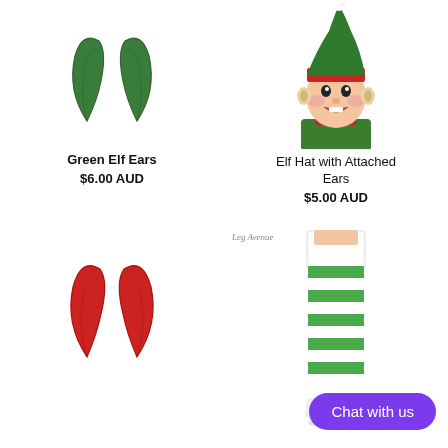[Figure (photo): Green elf ears accessory product photo on white background]
Green Elf Ears
$6.00 AUD
[Figure (photo): Man wearing an elf hat with attached cream-colored ears, green and red hat, smiling]
Elf Hat with Attached Ears
$5.00 AUD
[Figure (photo): Red elf ears accessory product photo on white background]
[Figure (photo): Leg Avenue brand green and white striped elf socks/stockings worn on legs, partial view]